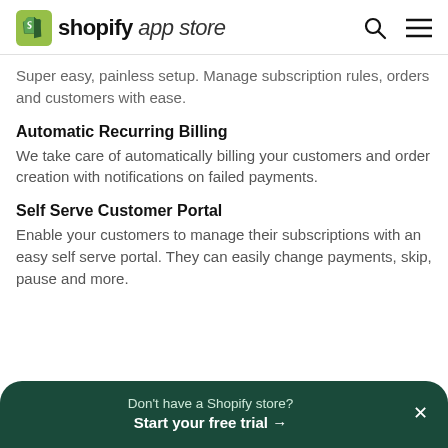shopify app store
Super easy, painless setup. Manage subscription rules, orders and customers with ease.
Automatic Recurring Billing
We take care of automatically billing your customers and order creation with notifications on failed payments.
Self Serve Customer Portal
Enable your customers to manage their subscriptions with an easy self serve portal. They can easily change payments, skip, pause and more.
Don't have a Shopify store? Start your free trial →